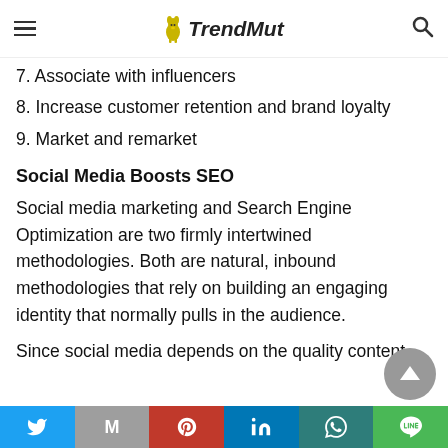TrendMut
7. Associate with influencers
8. Increase customer retention and brand loyalty
9. Market and remarket
Social Media Boosts SEO
Social media marketing and Search Engine Optimization are two firmly intertwined methodologies. Both are natural, inbound methodologies that rely on building an engaging identity that normally pulls in the audience.
Since social media depends on the quality content,